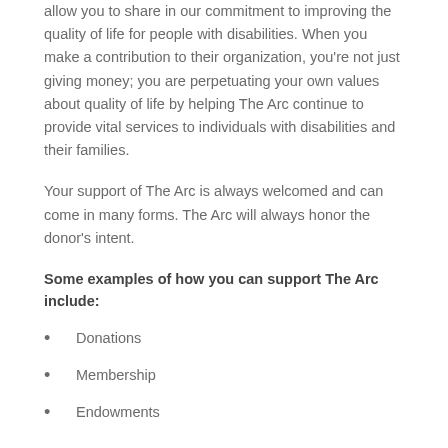allow you to share in our commitment to improving the quality of life for people with disabilities. When you make a contribution to their organization, you're not just giving money; you are perpetuating your own values about quality of life by helping The Arc continue to provide vital services to individuals with disabilities and their families.
Your support of The Arc is always welcomed and can come in many forms. The Arc will always honor the donor's intent.
Some examples of how you can support The Arc include:
Donations
Membership
Endowments